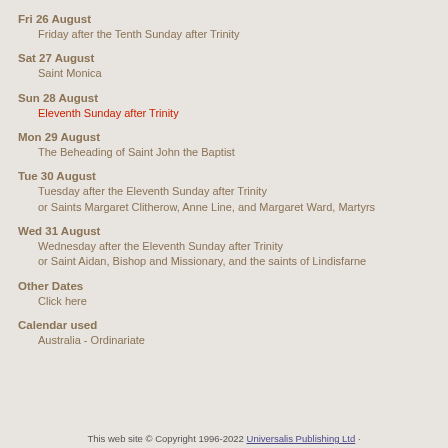Fri 26 August
    Friday after the Tenth Sunday after Trinity
Sat 27 August
    Saint Monica
Sun 28 August
    Eleventh Sunday after Trinity
Mon 29 August
    The Beheading of Saint John the Baptist
Tue 30 August
    Tuesday after the Eleventh Sunday after Trinity
    or Saints Margaret Clitherow, Anne Line, and Margaret Ward, Martyrs
Wed 31 August
    Wednesday after the Eleventh Sunday after Trinity
    or Saint Aidan, Bishop and Missionary, and the saints of Lindisfarne
Other Dates
    Click here
Calendar used
    Australia - Ordinariate
This web site © Copyright 1996-2022 Universalis Publishing Ltd ·